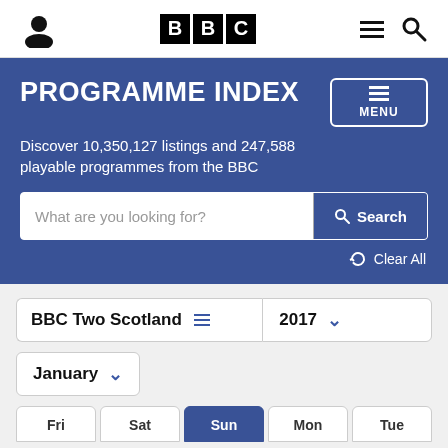BBC logo navigation bar with user icon, BBC logo, hamburger menu and search icon
PROGRAMME INDEX
Discover 10,350,127 listings and 247,588 playable programmes from the BBC
What are you looking for? Search
Clear All
BBC Two Scotland 2017
January
Fri Sat Sun Mon Tue